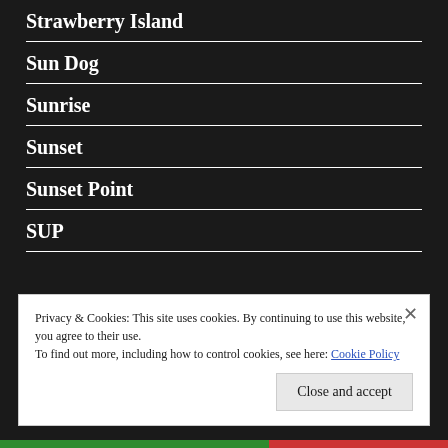Strawberry Island
Sun Dog
Sunrise
Sunset
Sunset Point
SUP
Privacy & Cookies: This site uses cookies. By continuing to use this website, you agree to their use.
To find out more, including how to control cookies, see here: Cookie Policy
Close and accept